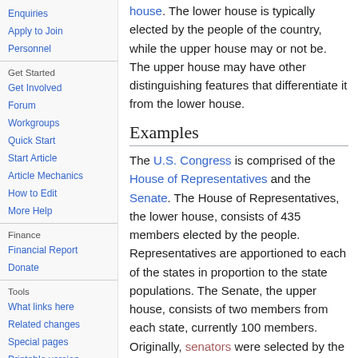Enquiries
Apply to Join
Personnel
Get Started
Get Involved
Forum
Workgroups
Quick Start
Start Article
Article Mechanics
How to Edit
More Help
Finance
Financial Report
Donate
Tools
What links here
Related changes
Special pages
Printable version
house. The lower house is typically elected by the people of the country, while the upper house may or not be. The upper house may have other distinguishing features that differentiate it from the lower house.
Examples
The U.S. Congress is comprised of the House of Representatives and the Senate. The House of Representatives, the lower house, consists of 435 members elected by the people. Representatives are apportioned to each of the states in proportion to the state populations. The Senate, the upper house, consists of two members from each state, currently 100 members. Originally, senators were selected by the states, but in 1912, the Senate was